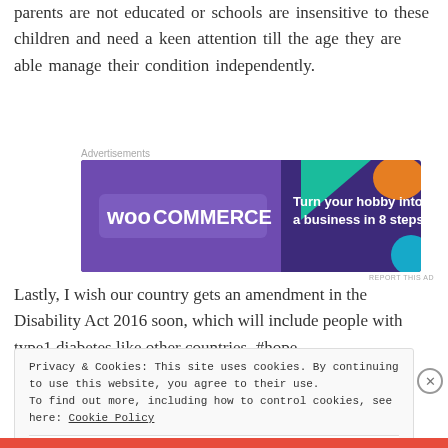parents are not educated or schools are insensitive to these children and need a keen attention till the age they are able manage their condition independently.
[Figure (other): WooCommerce advertisement banner: 'Turn your hobby into a business in 8 steps' on a dark purple background with geometric shapes.]
Lastly, I wish our country gets an amendment in the Disability Act 2016 soon, which will include people with type1 diabetes like other countries. #hope
Privacy & Cookies: This site uses cookies. By continuing to use this website, you agree to their use.
To find out more, including how to control cookies, see here: Cookie Policy

Close and accept